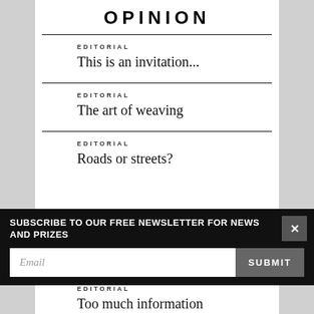OPINION
EDITORIAL
This is an invitation...
EDITORIAL
The art of weaving
EDITORIAL
Roads or streets?
SUBSCRIBE TO OUR FREE NEWSLETTER FOR NEWS AND PRIZES
EDITORIAL
Too much information